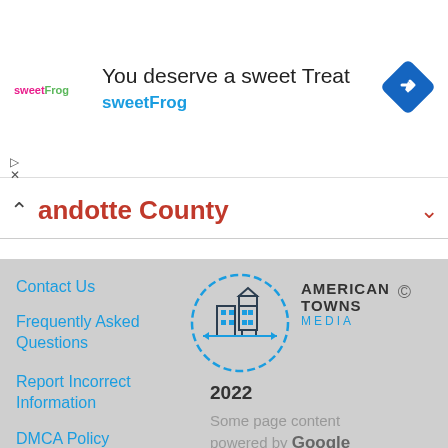[Figure (infographic): sweetFrog ad banner with logo, text 'You deserve a sweet Treat', 'sweetFrog' subtitle, and blue diamond navigation icon]
Wyandotte County
[Figure (logo): American Towns Media logo: circular icon with building/town illustration, text AMERICAN TOWNS MEDIA and year 2022]
Contact Us
Frequently Asked Questions
Report Incorrect Information
DMCA Policy
Some page content powered by Google